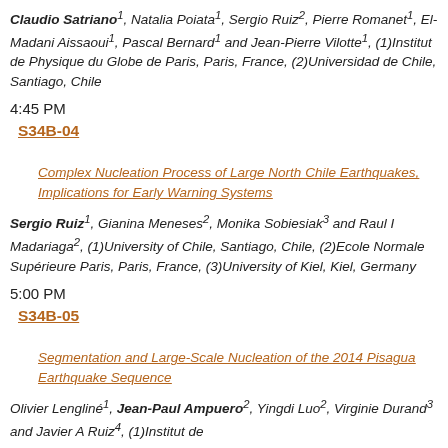Claudio Satriano¹, Natalia Poiata¹, Sergio Ruiz², Pierre Romanet¹, El-Madani Aissaoui¹, Pascal Bernard¹ and Jean-Pierre Vilotte¹, (1)Institut de Physique du Globe de Paris, Paris, France, (2)Universidad de Chile, Santiago, Chile
4:45 PM
S34B-04
Complex Nucleation Process of Large North Chile Earthquakes, Implications for Early Warning Systems
Sergio Ruiz¹, Gianina Meneses², Monika Sobiesiak³ and Raul I Madariaga², (1)University of Chile, Santiago, Chile, (2)Ecole Normale Supérieure Paris, Paris, France, (3)University of Kiel, Kiel, Germany
5:00 PM
S34B-05
Segmentation and Large-Scale Nucleation of the 2014 Pisagua Earthquake Sequence
Olivier Lengliné¹, Jean-Paul Ampuero², Yingdi Luo², Virginie Durand³ and Javier A Ruiz⁴, (1)Institut de